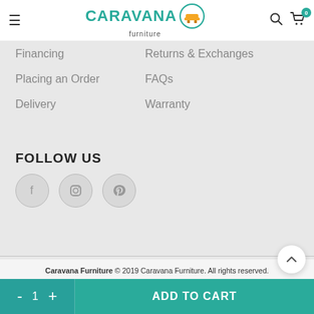Caravana Furniture
Financing
Returns & Exchanges
Placing an Order
FAQs
Delivery
Warranty
FOLLOW US
[Figure (illustration): Social media icons: Facebook, Instagram, Pinterest in grey circles]
Caravana Furniture © 2019 Caravana Furniture. All rights reserved. Privacy Policy
[Figure (other): Payment method icons: Visa, American Express, Mastercard, PayPal, Discover, Diners Club]